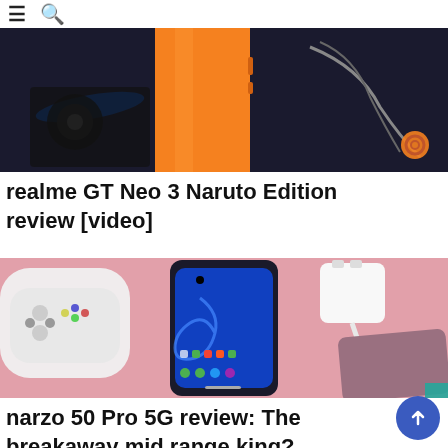≡ 🔍
[Figure (photo): Close-up photo of an orange realme GT Neo 3 smartphone lying on a dark surface with earphones and accessories around it, orange/dark color scheme]
realme GT Neo 3 Naruto Edition review [video]
[Figure (photo): Top-down photo of a narzo 50 Pro 5G smartphone with blue display on a pink surface, alongside a PS5 controller on the left, a white charger adapter and cable on the right, and another dark phone face-down]
narzo 50 Pro 5G review: The breakaway mid range king?